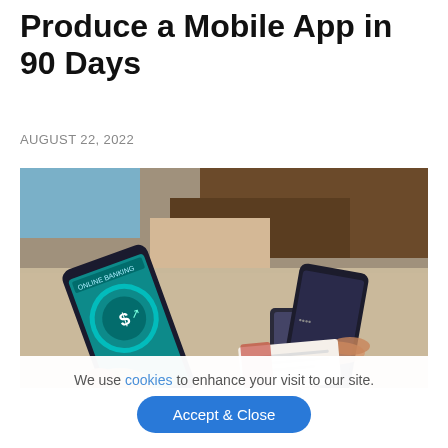Produce a Mobile App in 90 Days
AUGUST 22, 2022
[Figure (photo): Two people holding smartphones near a payment terminal on a table, one phone showing a teal mobile banking/payment app with a dollar sign graphic, the other phone being tapped against a card payment device.]
We use cookies to enhance your visit to our site.
Accept & Close